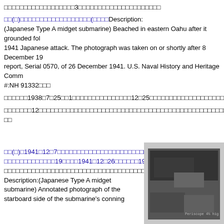□□□□□□□□□□□□□□□□□□3□□□□□□□□□□□□□□□□□□□□□
□□(□)□□□□□□□□□□□□□□□□□□(□□□□Description: (Japanese Type A midget submarine) Beached in eastern Oahu after it grounded fol 1941 Japanese attack. The photograph was taken on or shortly after 8 December 19 report, Serial 0570, of 26 December 1941. U.S. Naval History and Heritage Comm #:NH 91332□□□
□□□□□□1938□7□25□□1□□□□□□□□□□□□□□□12□25□□□□□□□□□□□□□□□□□□□□□□□□□□□□□□□□□□□□□□□□□□□□□□□□□□□□□□□□□□□□□□□□□□□□□□□□□□□□□□□□□□□□□□□□□□□
□□□□□□□12□□□□□□□□□□□□□□□□□□□□□□□□□□□□□□□□□□□□□□□□□□□□□□□□□□□□□□□□□□□□□□□□□□□□□□□□□□□□□□□□□□□□□□□□□□□□□□□□□□□□□□□□□□□□□□□□□□
□□(□)□1941□12□7□□□□□□□□□□□□□□□□□□□□□□□□□□□□□□□□□□□□□□□□□□□□□19□□□□1941□12□26□□□□□□19□□□□□□□□□□□□□□□□□□□□□□□□□□□□□□□□□□□□□□□□□□□□□□□□□□□□□□□□□□□□□□□□□□Description:(Japanese Type A midget submarine) Annotated photograph of the starboard side of the submarine's conning
[Figure (photo): Black and white annotated photograph of a Japanese Type A midget submarine, with text annotation reading 'Periscope 4½ hig' visible at bottom right]